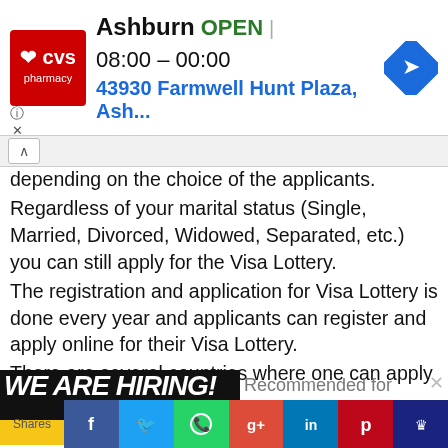[Figure (screenshot): CVS Pharmacy ad banner showing Ashburn store OPEN 08:00-00:00 at 43930 Farmwell Hunt Plaza]
depending on the choice of the applicants. Regardless of your marital status (Single, Married, Divorced, Widowed, Separated, etc.) you can still apply for the Visa Lottery. The registration and application for Visa Lottery is done every year and applicants can register and apply online for their Visa Lottery. There are several countries where one can apply for a Visa
[Figure (photo): We Are Hiring! banner with Warehouse label in yellow]
Recommended for you
Jobs in...
Shares [Facebook] [Twitter] [WhatsApp] [Google+] [LinkedIn] [Pinterest] [Bookmark]